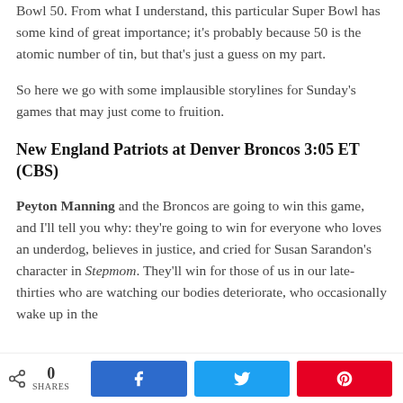Bowl 50. From what I understand, this particular Super Bowl has some kind of great importance; it's probably because 50 is the atomic number of tin, but that's just a guess on my part.
So here we go with some implausible storylines for Sunday's games that may just come to fruition.
New England Patriots at Denver Broncos 3:05 ET (CBS)
Peyton Manning and the Broncos are going to win this game, and I'll tell you why: they're going to win for everyone who loves an underdog, believes in justice, and cried for Susan Sarandon's character in Stepmom. They'll win for those of us in our late-thirties who are watching our bodies deteriorate, who occasionally wake up in the
0 SHARES  [Facebook share] [Twitter share] [Pinterest share]